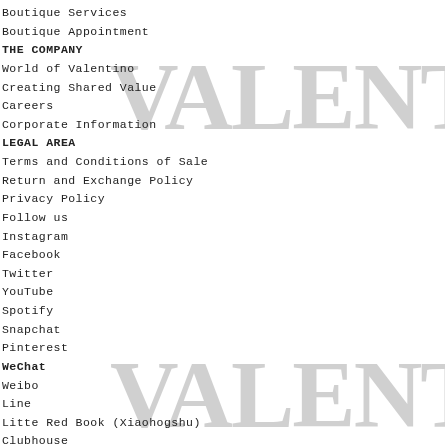Boutique Services
Boutique Appointment
THE COMPANY
World of Valentino
Creating Shared Value
Careers
Corporate Information
LEGAL AREA
Terms and Conditions of Sale
Return and Exchange Policy
Privacy Policy
Follow us
Instagram
Facebook
Twitter
YouTube
Spotify
Snapchat
Pinterest
WeChat
Weibo
Line
Litte Red Book (Xiaohogshu)
Clubhouse
[Figure (logo): VALENTINO logo watermark, large serif text, displayed twice as background watermarks]